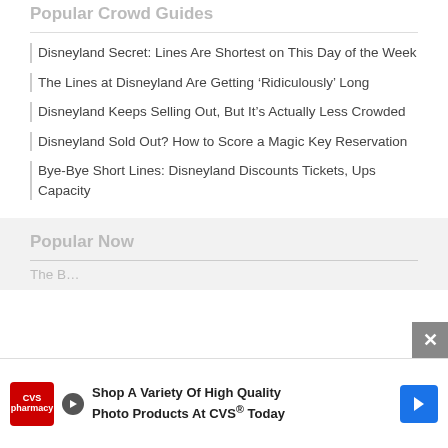Popular Crowd Guides
Disneyland Secret: Lines Are Shortest on This Day of the Week
The Lines at Disneyland Are Getting ‘Ridiculously’ Long
Disneyland Keeps Selling Out, But It’s Actually Less Crowded
Disneyland Sold Out? How to Score a Magic Key Reservation
Bye-Bye Short Lines: Disneyland Discounts Tickets, Ups Capacity
Popular Now
The B…
[Figure (screenshot): CVS Pharmacy advertisement: Shop A Variety Of High Quality Photo Products At CVS® Today]